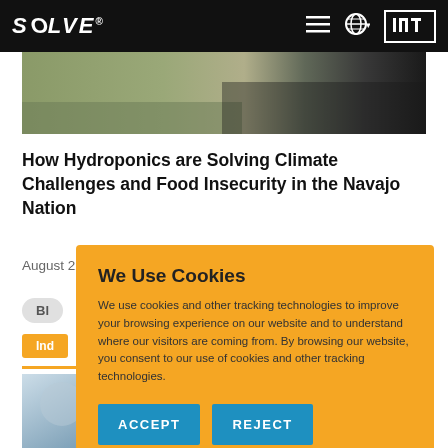SOLVE® MIT — navigation bar
[Figure (photo): Hero image showing grassy outdoor scene in natural tones]
How Hydroponics are Solving Climate Challenges and Food Insecurity in the Navajo Nation
August 22, 2022
Bl...
Ind...
[Figure (screenshot): Cookie consent overlay on gold/amber background with We Use Cookies heading, descriptive text, and ACCEPT and REJECT buttons]
[Figure (photo): Partial bottom image visible below cookie overlay]